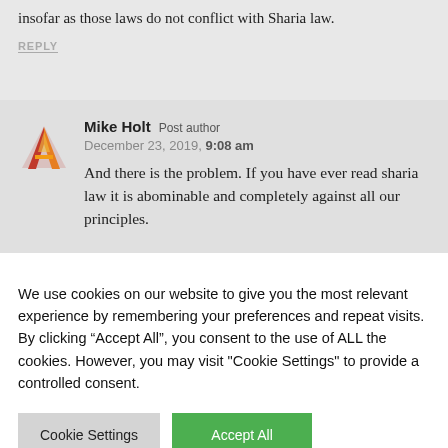insofar as those laws do not conflict with Sharia law.
REPLY
Mike Holt Post author
December 23, 2019, 9:08 am
And there is the problem. If you have ever read sharia law it is abominable and completely against all our principles.
We use cookies on our website to give you the most relevant experience by remembering your preferences and repeat visits. By clicking “Accept All”, you consent to the use of ALL the cookies. However, you may visit "Cookie Settings" to provide a controlled consent.
Cookie Settings
Accept All